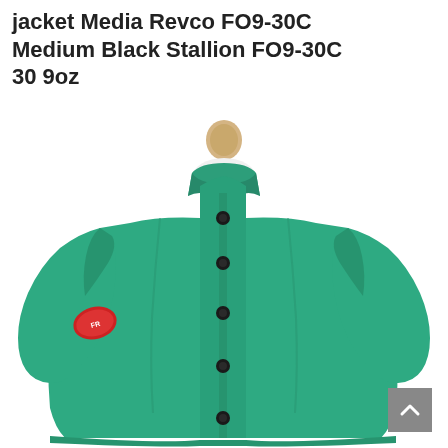jacket Media Revco FO9-30C Medium Black Stallion FO9-30C 30 9oz
[Figure (photo): A green flame-resistant welding jacket displayed on a dress form/mannequin torso. The jacket is teal/green color with black snap buttons down the front placket and a stand-up collar. There is a brand patch on the left sleeve. The mannequin has a wooden ball-top finial at the top.]